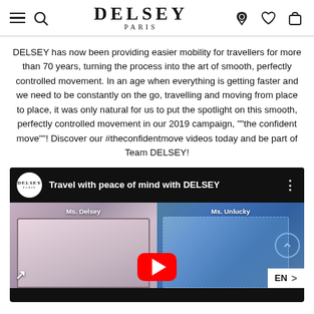DELSEY PARIS
DELSEY has now been providing easier mobility for travellers for more than 70 years, turning the process into the art of smooth, perfectly controlled movement. In an age when everything is getting faster and we need to be constantly on the go, travelling and moving from place to place, it was only natural for us to put the spotlight on this smooth, perfectly controlled movement in our 2019 campaign, ""the confident move""! Discover our #theconfidentmove videos today and be part of Team DELSEY!
[Figure (screenshot): YouTube video thumbnail showing 'Travel with peace of mind with DELSEY' split screen with Ms. Delsey (pink suitcase interior) and Ms. Unlucky (plastic-wrapped luggage), with YouTube play button overlay and EN language selector]